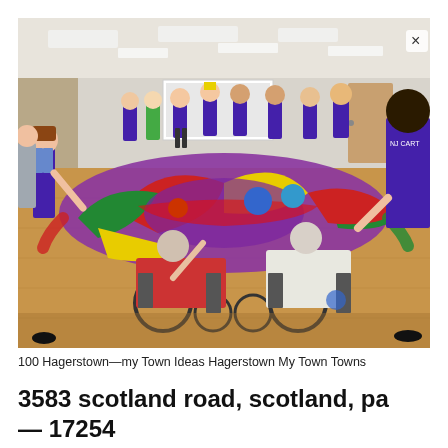[Figure (photo): Group of teenagers in purple shirts and elderly adults in wheelchairs standing in a circle holding a colorful parachute with balls on top, in a community room with wood floors and drop ceiling. A close button (×) is visible in the upper right corner.]
100 Hagerstown—my Town Ideas Hagerstown My Town Towns
3583 scotland road, scotland, pa — 17254